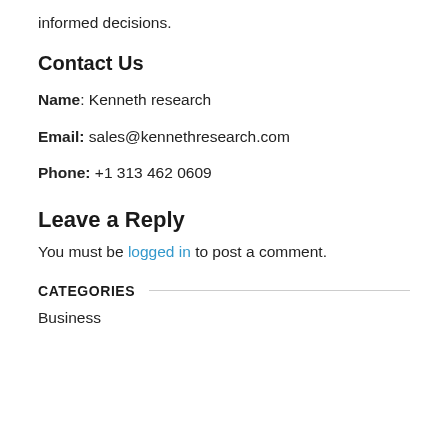informed decisions.
Contact Us
Name: Kenneth research
Email: sales@kennethresearch.com
Phone: +1 313 462 0609
Leave a Reply
You must be logged in to post a comment.
CATEGORIES
Business